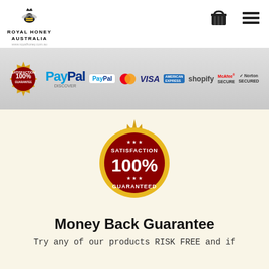[Figure (logo): Royal Honey Australia logo with bee illustration, text ROYAL HONEY AUSTRALIA and www.royalhoney.com.au]
[Figure (screenshot): Payment trust banner showing 100% Satisfaction Guarantee seal, PayPal, Discover, MasterCard, VISA, American Express, McAfee Secure, Norton Secured, Shopify logos]
[Figure (illustration): Gold and dark red 100% SATISFACTION GUARANTEED seal badge]
Money Back Guarantee
Try any of our products RISK FREE and if